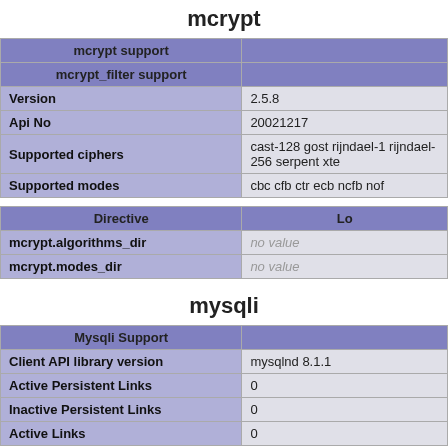mcrypt
| mcrypt support |  |
| --- | --- |
| mcrypt_filter support |  |
| Version | 2.5.8 |
| Api No | 20021217 |
| Supported ciphers | cast-128 gost rijndael-1 rijndael-256 serpent xte |
| Supported modes | cbc cfb ctr ecb ncfb nof |
| Directive | Lo |
| --- | --- |
| mcrypt.algorithms_dir | no value |
| mcrypt.modes_dir | no value |
mysqli
| Mysqli Support |  |
| --- | --- |
| Client API library version | mysqlnd 8.1.1 |
| Active Persistent Links | 0 |
| Inactive Persistent Links | 0 |
| Active Links | 0 |